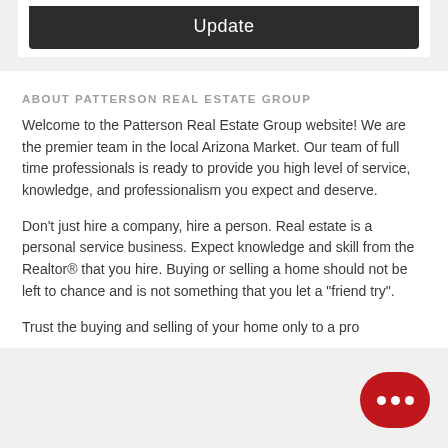[Figure (screenshot): Dark gray button/banner with white text 'Update']
ABOUT PATTERSON REAL ESTATE GROUP
Welcome to the Patterson Real Estate Group website! We are the premier team in the local Arizona Market. Our team of full time professionals is ready to provide you high level of service, knowledge, and professionalism you expect and deserve.
Don't just hire a company, hire a person. Real estate is a personal service business. Expect knowledge and skill from the Realtor® that you hire. Buying or selling a home should not be left to chance and is not something that you let a "friend try".
Trust the buying and selling of your home only to a pro